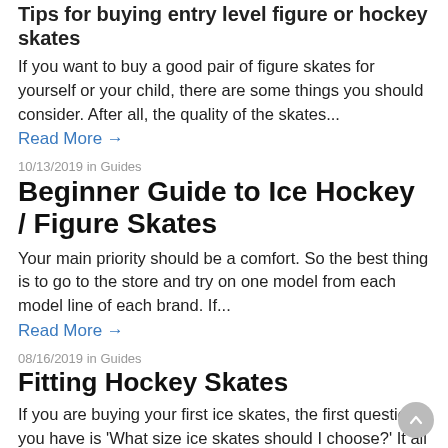Tips for buying entry level figure or hockey skates
If you want to buy a good pair of figure skates for yourself or your child, there are some things you should consider. After all, the quality of the skates...
Read More →
10/13/2019 in Guides
Beginner Guide to Ice Hockey / Figure Skates
Your main priority should be a comfort. So the best thing is to go to the store and try on one model from each model line of each brand. If...
Read More →
08/16/2019 in Guides
Fitting Hockey Skates
If you are buying your first ice skates, the first question you have is 'What size ice skates should I choose?' It all depends on the brand of the skates....
Read More →